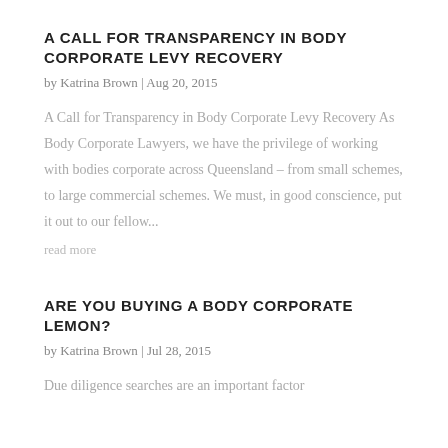A CALL FOR TRANSPARENCY IN BODY CORPORATE LEVY RECOVERY
by Katrina Brown | Aug 20, 2015
A Call for Transparency in Body Corporate Levy Recovery As Body Corporate Lawyers, we have the privilege of working with bodies corporate across Queensland – from small schemes, to large commercial schemes.  We must, in good conscience, put it out to our fellow...
read more
ARE YOU BUYING A BODY CORPORATE LEMON?
by Katrina Brown | Jul 28, 2015
Due diligence searches are an important factor